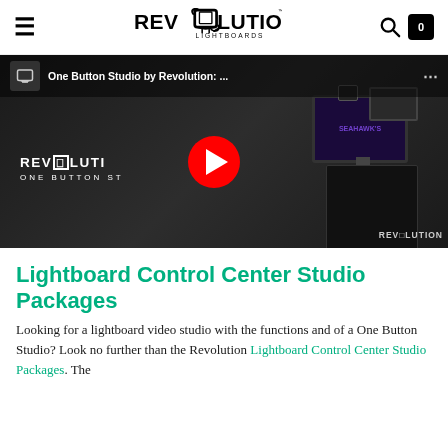Revolution Lightboards — navigation bar with hamburger menu, logo, search icon, and cart (0)
[Figure (screenshot): YouTube video thumbnail showing 'One Button Studio by Revolution:...' with a play button overlay. The thumbnail shows a studio setup with a monitor on a black cart, a camera, and the Revolution One Button Studio branding in white text on a dark background. The Revolution Lightboards logo appears at the bottom right of the thumbnail.]
Lightboard Control Center Studio Packages
Looking for a lightboard video studio with the functions and of a One Button Studio? Look no further than the Revolution Lightboard Control Center Studio Packages. The